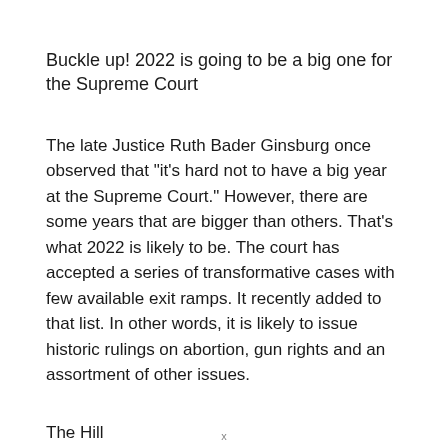Buckle up! 2022 is going to be a big one for the Supreme Court
The late Justice Ruth Bader Ginsburg once observed that "it's hard not to have a big year at the Supreme Court." However, there are some years that are bigger than others. That's what 2022 is likely to be. The court has accepted a series of transformative cases with few available exit ramps. It recently added to that list. In other words, it is likely to issue historic rulings on abortion, gun rights and an assortment of other issues.
The Hill